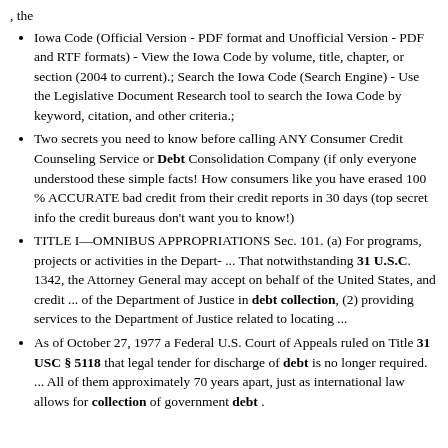, the
Iowa Code (Official Version - PDF format and Unofficial Version - PDF and RTF formats) - View the Iowa Code by volume, title, chapter, or section (2004 to current).; Search the Iowa Code (Search Engine) - Use the Legislative Document Research tool to search the Iowa Code by keyword, citation, and other criteria.;
Two secrets you need to know before calling ANY Consumer Credit Counseling Service or Debt Consolidation Company (if only everyone understood these simple facts! How consumers like you have erased 100 % ACCURATE bad credit from their credit reports in 30 days (top secret info the credit bureaus don’t want you to know!)
TITLE I—OMNIBUS APPROPRIATIONS Sec. 101. (a) For programs, projects or activities in the Depart- ... That notwithstanding 31 U.S.C. 1342, the Attorney General may accept on behalf of the United States, and credit ... of the Department of Justice in debt collection, (2) providing services to the Department of Justice related to locating ...
As of October 27, 1977 a Federal U.S. Court of Appeals ruled on Title 31 USC § 5118 that legal tender for discharge of debt is no longer required. ... All of them approximately 70 years apart, just as international law allows for collection of government debt .